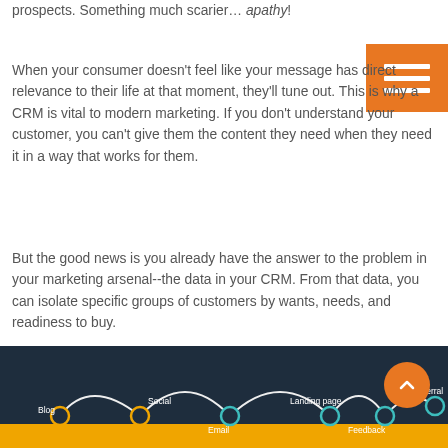prospects. Something much scarier… apathy!
When your consumer doesn't feel like your message has direct relevance to their life at that moment, they'll tune out. This is why a CRM is vital to modern marketing. If you don't understand your customer, you can't give them the content they need when they need it in a way that works for them.
But the good news is you already have the answer to the problem in your marketing arsenal--the data in your CRM. From that data, you can isolate specific groups of customers by wants, needs, and readiness to buy.
[Figure (infographic): Dark navy infographic showing a customer journey flowchart with labeled touchpoints: Blog, Social, Email, Landing page, Feedback, Referral. Circular markers (teal/yellow) connected by curved lines with an orange/yellow band running at the bottom.]